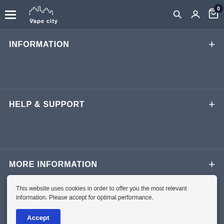The Vape City - navigation header with logo, search, account and cart icons
INFORMATION
HELP & SUPPORT
MORE INFORMATION
NEWSLETTER
This website uses cookies in order to offer you the most relevant information. Please accept for optimal performance.
Accept
Your email